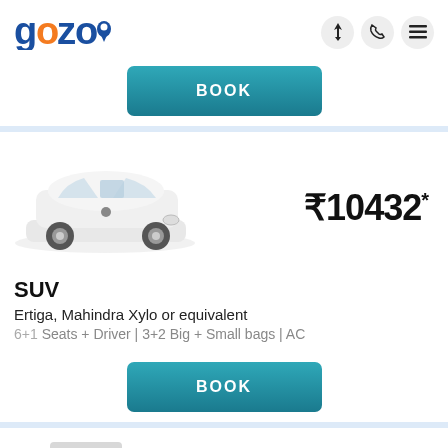[Figure (logo): Gozo logo with blue text and orange 'o', with a location pin icon]
[Figure (other): Header icons: lightning bolt, phone, hamburger menu]
[Figure (other): BOOK button (teal gradient)]
[Figure (photo): White SUV car (Ertiga/Mahindra Xylo) facing left on white background]
₹10432*
SUV
Ertiga, Mahindra Xylo or equivalent
6+1 Seats + Driver | 3+2 Big + Small bags | AC
[Figure (other): BOOK button (teal gradient)]